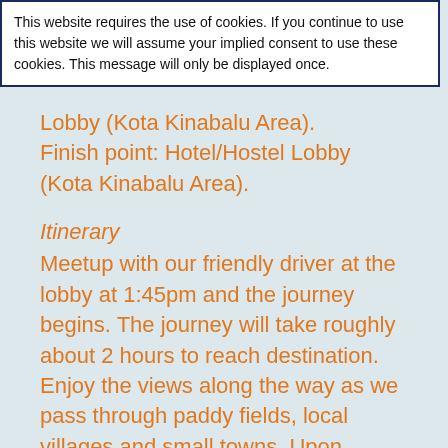This website requires the use of cookies. If you continue to use this website we will assume your implied consent to use these cookies. This message will only be displayed once.
Lobby (Kota Kinabalu Area). Finish point: Hotel/Hostel Lobby (Kota Kinabalu Area).
Itinerary
Meetup with our friendly driver at the lobby at 1:45pm and the journey begins. The journey will take roughly about 2 hours to reach destination. Enjoy the views along the way as we pass through paddy fields, local villages and small towns. Upon reaching, we will head straight to the dining area to have our High-Tea before starting the River Cruise. Take the boat and cruise along the river in search